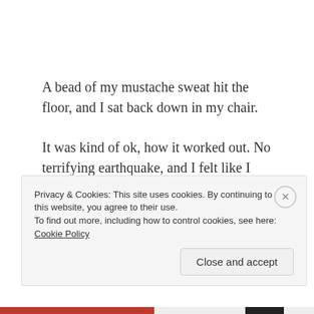A bead of my mustache sweat hit the floor, and I sat back down in my chair.
It was kind of ok, how it worked out. No terrifying earthquake, and I felt like I survived something that day. My @%#&$* co-workers.
xx
Privacy & Cookies: This site uses cookies. By continuing to use this website, you agree to their use.
To find out more, including how to control cookies, see here: Cookie Policy
Close and accept